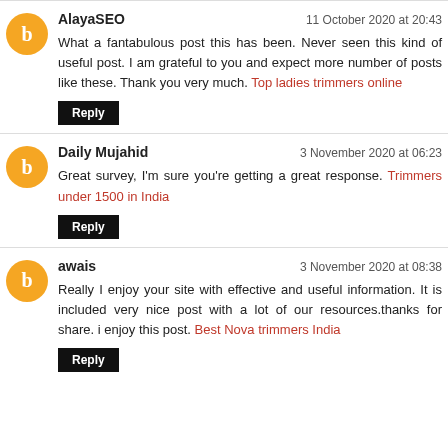AlayaSEO — 11 October 2020 at 20:43
What a fantabulous post this has been. Never seen this kind of useful post. I am grateful to you and expect more number of posts like these. Thank you very much. Top ladies trimmers online
Daily Mujahid — 3 November 2020 at 06:23
Great survey, I'm sure you're getting a great response. Trimmers under 1500 in India
awais — 3 November 2020 at 08:38
Really I enjoy your site with effective and useful information. It is included very nice post with a lot of our resources.thanks for share. i enjoy this post. Best Nova trimmers India